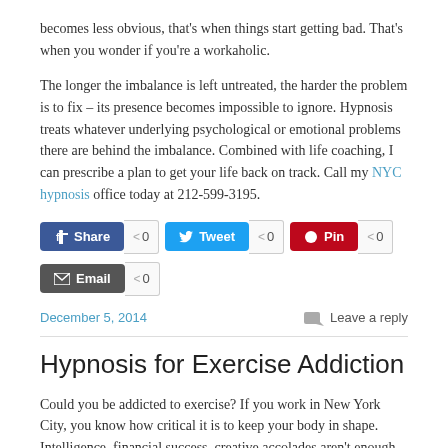becomes less obvious, that's when things start getting bad. That's when you wonder if you're a workaholic.
The longer the imbalance is left untreated, the harder the problem is to fix – its presence becomes impossible to ignore. Hypnosis treats whatever underlying psychological or emotional problems there are behind the imbalance. Combined with life coaching, I can prescribe a plan to get your life back on track. Call my NYC hypnosis office today at 212-599-3195.
[Figure (infographic): Social sharing buttons: Share (Facebook, count 0), Tweet (Twitter, count 0), Pin (Pinterest, count 0), Email (count 0)]
December 5, 2014    Leave a reply
Hypnosis for Exercise Addiction
Could you be addicted to exercise? If you work in New York City, you know how critical it is to keep your body in shape. Intelligence, financial success, creative accolades aren't enough. Likely you have an active gym membership, go on regular jogs, are constantly exploring classes on meditation or martial arts. I rarely meet a New Yorker who isn't